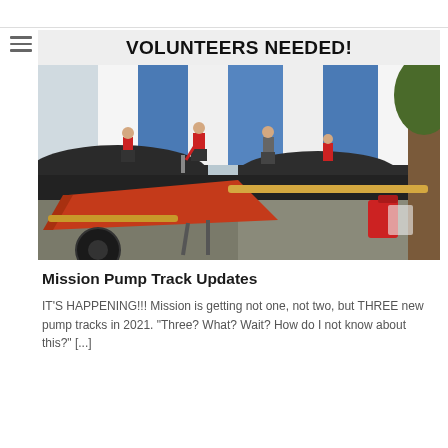[Figure (photo): Volunteers working on a pump track construction site. A large red wheelbarrow is in the foreground, people in red shirts are working on a dark asphalt pump track in the background, with a blue and white striped building wall behind them. Text overlay reads 'VOLUNTEERS NEEDED!']
Mission Pump Track Updates
IT'S HAPPENING!!! Mission is getting not one, not two, but THREE new pump tracks in 2021. "Three? What? Wait? How do I not know about this?" [...]